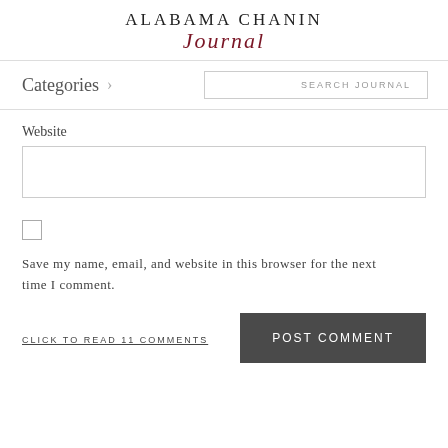ALABAMA CHANIN Journal
Categories >
SEARCH JOURNAL
Website
Save my name, email, and website in this browser for the next time I comment.
CLICK TO READ 11 COMMENTS
POST COMMENT